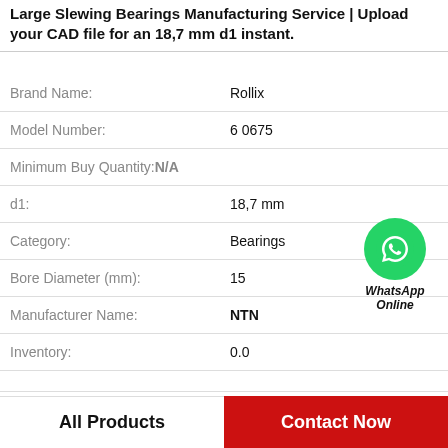Large Slewing Bearings Manufacturing Service | Upload your CAD file for an 18,7 mm d1 instant.
| Attribute | Value |
| --- | --- |
| Brand Name: | Rollix |
| Model Number: | 6 0675 |
| Minimum Buy Quantity: | N/A |
| d1: | 18,7 mm |
| Category: | Bearings |
| Bore Diameter (mm): | 15 |
| Manufacturer Name: | NTN |
| Inventory: | 0.0 |
[Figure (logo): WhatsApp Online green circle phone icon with text WhatsApp Online below]
All Products
Contact Now